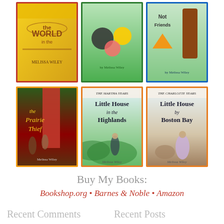[Figure (photo): Grid of 6 book covers by Melissa Wiley: top row (partial): a world-themed book, a cartoon characters book, and a 'Not Friends' book; bottom row: 'The Prairie Thief', 'Little House in the Highlands' (The Martha Years), 'Little House by Boston Bay' (The Charlotte Years)]
Buy My Books:
Bookshop.org • Barnes & Noble • Amazon
Recent Comments
Recent Posts
Penelope on Under the weather: "How lovely to
Under the weather